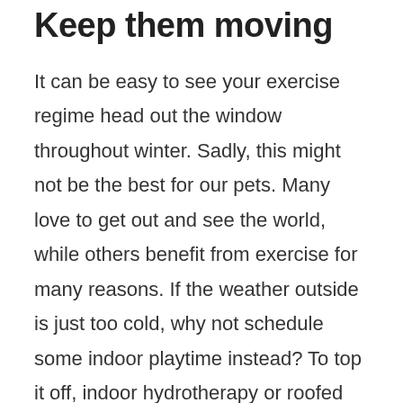Keep them moving
It can be easy to see your exercise regime head out the window throughout winter. Sadly, this might not be the best for our pets. Many love to get out and see the world, while others benefit from exercise for many reasons. If the weather outside is just too cold, why not schedule some indoor playtime instead? To top it off, indoor hydrotherapy or roofed dog or cat parks can be an